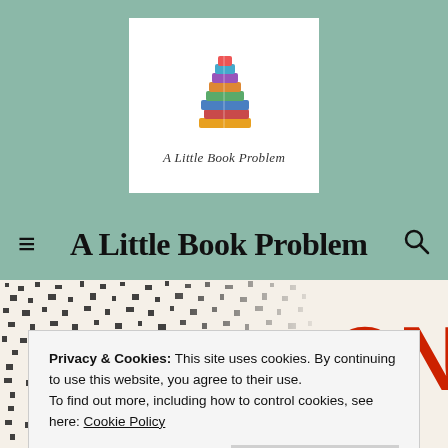[Figure (logo): A Little Book Problem logo: stacked colorful books illustration above cursive text reading 'A Little Book Problem', displayed in a white box on a sage green header background.]
A Little Book Problem
[Figure (photo): Book cover of 'On Tyranny' showing large red block letters 'ON' and 'TYRANNY' on a cream background with black speckled pattern on the left side.]
Privacy & Cookies: This site uses cookies. By continuing to use this website, you agree to their use.
To find out more, including how to control cookies, see here: Cookie Policy
Close and accept